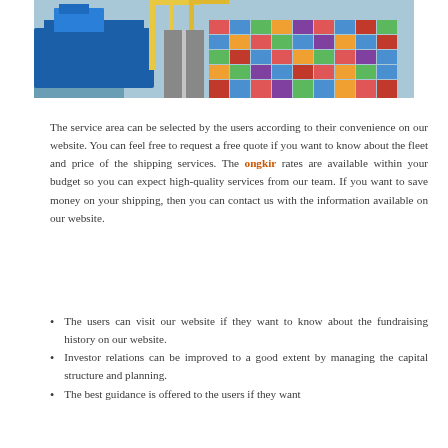[Figure (photo): Aerial view of a shipping port with a large blue cargo ship, yellow cranes, and stacks of colorful shipping containers along a road.]
The service area can be selected by the users according to their convenience on our website. You can feel free to request a free quote if you want to know about the fleet and price of the shipping services. The ongkir rates are available within your budget so you can expect high-quality services from our team. If you want to save money on your shipping, then you can contact us with the information available on our website.
The users can visit our website if they want to know about the fundraising history on our website.
Investor relations can be improved to a good extent by managing the capital structure and planning.
The best guidance is offered to the users if they want